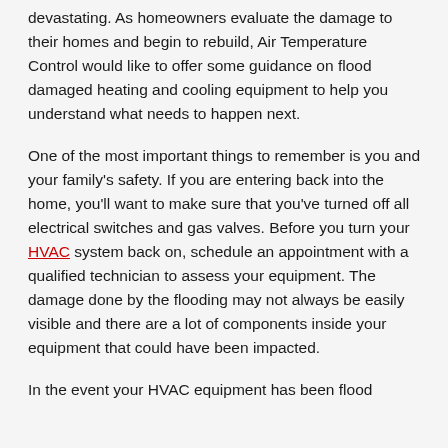devastating. As homeowners evaluate the damage to their homes and begin to rebuild, Air Temperature Control would like to offer some guidance on flood damaged heating and cooling equipment to help you understand what needs to happen next.
One of the most important things to remember is you and your family's safety. If you are entering back into the home, you'll want to make sure that you've turned off all electrical switches and gas valves. Before you turn your HVAC system back on, schedule an appointment with a qualified technician to assess your equipment. The damage done by the flooding may not always be easily visible and there are a lot of components inside your equipment that could have been impacted.
In the event your HVAC equipment has been flood damaged, you may want to consider... [continues]